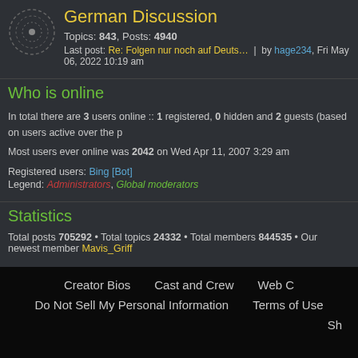German Discussion
Topics: 843, Posts: 4940
Last post: Re: Folgen nur noch auf Deuts… | by hage234, Fri May 06, 2022 10:19 am
Who is online
In total there are 3 users online :: 1 registered, 0 hidden and 2 guests (based on users active over the p
Most users ever online was 2042 on Wed Apr 11, 2007 3:29 am
Registered users: Bing [Bot]
Legend: Administrators, Global moderators
Statistics
Total posts 705292 • Total topics 24332 • Total members 844535 • Our newest member Mavis_Griff
Creator Bios   Cast and Crew   Web C   Do Not Sell My Personal Information   Terms of Use   Sh